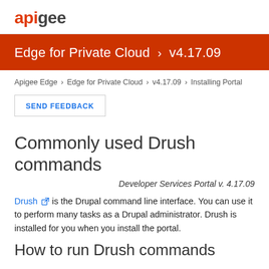apigee
Edge for Private Cloud > v4.17.09
Apigee Edge > Edge for Private Cloud > v4.17.09 > Installing Portal
SEND FEEDBACK
Commonly used Drush commands
Developer Services Portal v. 4.17.09
Drush is the Drupal command line interface. You can use it to perform many tasks as a Drupal administrator. Drush is installed for you when you install the portal.
How to run Drush commands